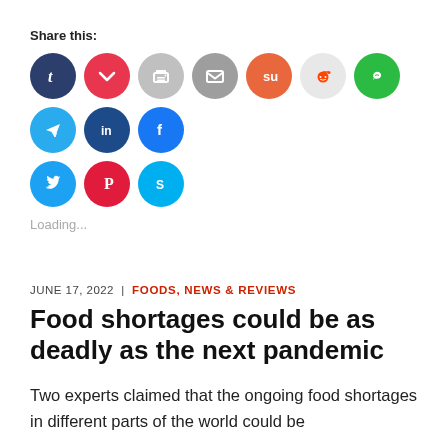Share this:
[Figure (illustration): Row of social media sharing icon buttons: Tumblr (dark teal), Pocket (red), Print (gray), Email (gray), StumbleUpon (orange), Reddit (light gray), WhatsApp (green), Telegram (blue), LinkedIn (dark blue), Facebook (blue), Twitter (light blue), Pinterest (red), Skype (blue)]
Loading...
JUNE 17, 2022 | FOODS, NEWS & REVIEWS
Food shortages could be as deadly as the next pandemic
Two experts claimed that the ongoing food shortages in different parts of the world could be